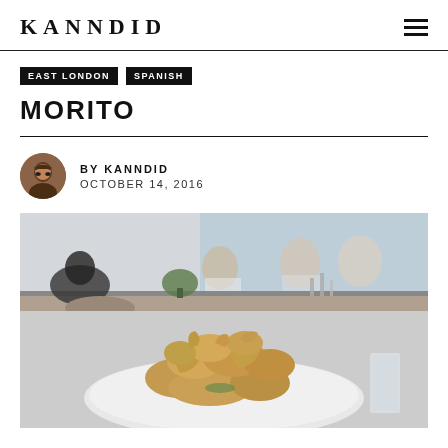KANNDID
EAST LONDON
SPANISH
MORITO
BY KANNDID
OCTOBER 14, 2016
[Figure (photo): Photo of fried calamari or squid dish on a white plate at the Morito restaurant, with blurred diners and bar counter in the background]